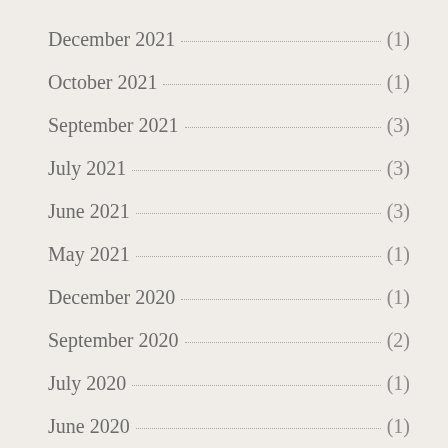December 2021 (1)
October 2021 (1)
September 2021 (3)
July 2021 (3)
June 2021 (3)
May 2021 (1)
December 2020 (1)
September 2020 (2)
July 2020 (1)
June 2020 (1)